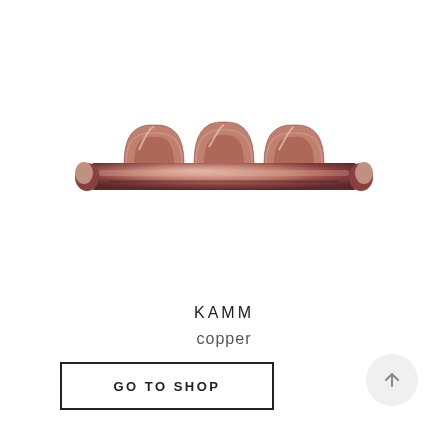[Figure (photo): A copper-colored metallic hair comb or decorative comb with three wave-like arches and two round mounting posts at each end, shown on a white background.]
KAMM
copper
GO TO SHOP